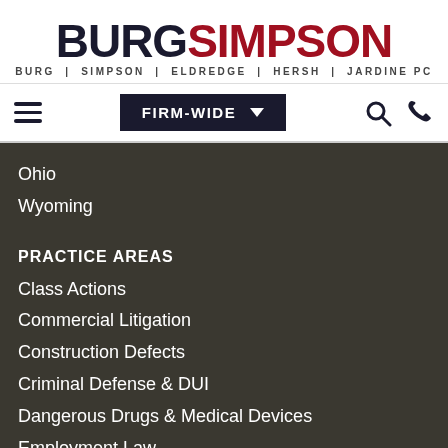[Figure (logo): Burg Simpson law firm logo — BURG in black bold, SIMPSON in red bold, subtitle: BURG | SIMPSON | ELDREDGE | HERSH | JARDINE PC]
FIRM-WIDE
Ohio
Wyoming
PRACTICE AREAS
Class Actions
Commercial Litigation
Construction Defects
Criminal Defense & DUI
Dangerous Drugs & Medical Devices
Employment Law
Explosions
Family Law
Medical Malpractice